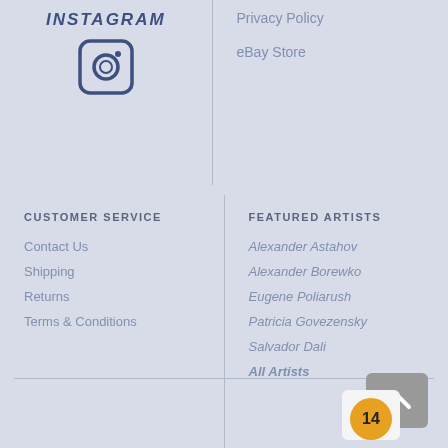[Figure (logo): Instagram camera icon in a rounded square border, blue color]
Privacy Policy
eBay Store
CUSTOMER SERVICE
Contact Us
Shipping
Returns
Terms & Conditions
FEATURED ARTISTS
Alexander Astahov
Alexander Borewko
Eugene Poliarush
Patricia Govezensky
Salvador Dali
All Artists